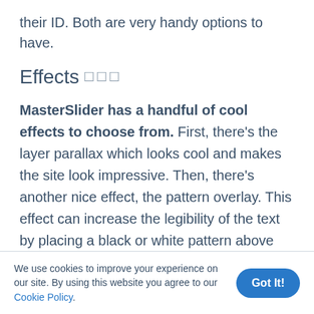their ID. Both are very handy options to have.
Effects 🔲🔲🔲
MasterSlider has a handful of cool effects to choose from. First, there's the layer parallax which looks cool and makes the site look impressive. Then, there's another nice effect, the pattern overlay. This effect can increase the legibility of the text by placing a black or white pattern above the image. As a result, the image will look darker or lighter. Additionally, it
We use cookies to improve your experience on our site. By using this website you agree to our Cookie Policy.